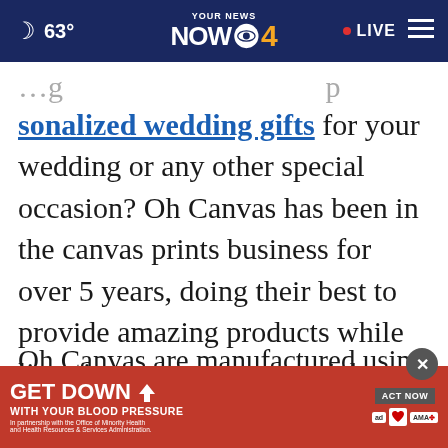63° | YOUR NEWS NOW CBS 4 | LIVE
sonalized wedding gifts for your wedding or any other special occasion? Oh Canvas has been in the canvas prints business for over 5 years, doing their best to provide amazing products while listening to our customers' dreams and desires.
Oh Canvas are manufactured using high-quality materials that are meant to last a lifetime.
Other... [partially obscured] ...in a
[Figure (screenshot): GET DOWN WITH YOUR BLOOD PRESSURE advertisement banner with ACT NOW button, ad council, American Heart Association, and AMA logos]